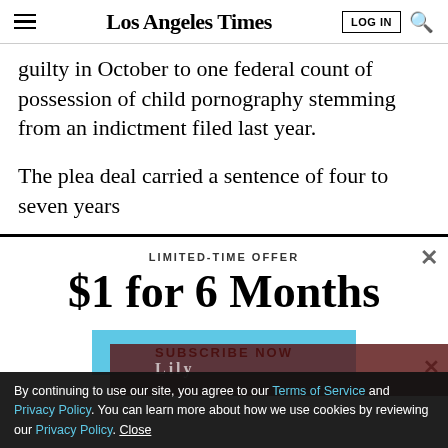Los Angeles Times
guilty in October to one federal count of possession of child pornography stemming from an indictment filed last year.
The plea deal carried a sentence of four to seven years
LIMITED-TIME OFFER
$1 for 6 Months
SUBSCRIBE NOW
By continuing to use our site, you agree to our Terms of Service and Privacy Policy. You can learn more about how we use cookies by reviewing our Privacy Policy. Close